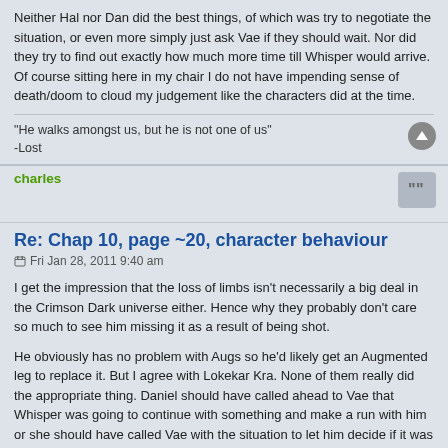Neither Hal nor Dan did the best things, of which was try to negotiate the situation, or even more simply just ask Vae if they should wait. Nor did they try to find out exactly how much more time till Whisper would arrive. Of course sitting here in my chair I do not have impending sense of death/doom to cloud my judgement like the characters did at the time.
"He walks amongst us, but he is not one of us"
-Lost
charles
Re: Chap 10, page ~20, character behaviour
Fri Jan 28, 2011 9:40 am
I get the impression that the loss of limbs isn't necessarily a big deal in the Crimson Dark universe either. Hence why they probably don't care so much to see him missing it as a result of being shot.
He obviously has no problem with Augs so he'd likely get an Augmented leg to replace it. But I agree with Lokekar Kra. None of them really did the appropriate thing. Daniel should have called ahead to Vae that Whisper was going to continue with something and make a run with him or she should have called Vae with the situation to let him decide if it was worth